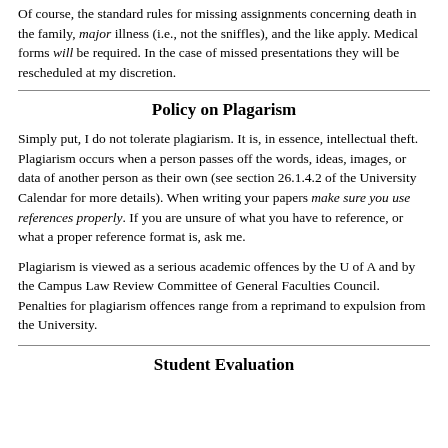Of course, the standard rules for missing assignments concerning death in the family, major illness (i.e., not the sniffles), and the like apply. Medical forms will be required. In the case of missed presentations they will be rescheduled at my discretion.
Policy on Plagarism
Simply put, I do not tolerate plagiarism. It is, in essence, intellectual theft. Plagiarism occurs when a person passes off the words, ideas, images, or data of another person as their own (see section 26.1.4.2 of the University Calendar for more details). When writing your papers make sure you use references properly. If you are unsure of what you have to reference, or what a proper reference format is, ask me.
Plagiarism is viewed as a serious academic offences by the U of A and by the Campus Law Review Committee of General Faculties Council. Penalties for plagiarism offences range from a reprimand to expulsion from the University.
Student Evaluation